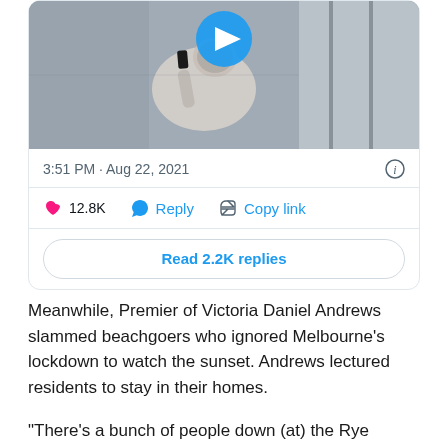[Figure (screenshot): Tweet card showing a video thumbnail of a person in an elevator (view from above), a play button icon, timestamp 3:51 PM · Aug 22, 2021, like count 12.8K, Reply button, Copy link button, and Read 2.2K replies button.]
Meanwhile, Premier of Victoria Daniel Andrews slammed beachgoers who ignored Melbourne's lockdown to watch the sunset. Andrews lectured residents to stay in their homes.
“There’s a bunch of people down (at) the Rye Beach last night who thought the best thing to do was to watch the sunset,” Andrews said. “I’m sure it was a